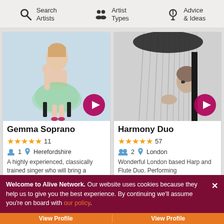Search Artists | Artist Types | Advice & Ideas
[Figure (photo): Gemma Soprano - blonde woman in green tutu dress seated on black chair against light blue background, with magenta play button overlay]
Gemma Soprano
★★★★★ 11
1 Herefordshire
A highly experienced, classically trained singer who will bring a
[Figure (photo): Harmony Duo - black and white photo of person playing harp, with magenta play button overlay]
Harmony Duo
★★★★★ 57
2 London
Wonderful London based Harp and Flute Duo. Performing
Welcome to Alive Network. Our website uses cookies because they help us to give you the best experience. By continuing we'll assume you're on board with our policy.
View Profile
View Profile